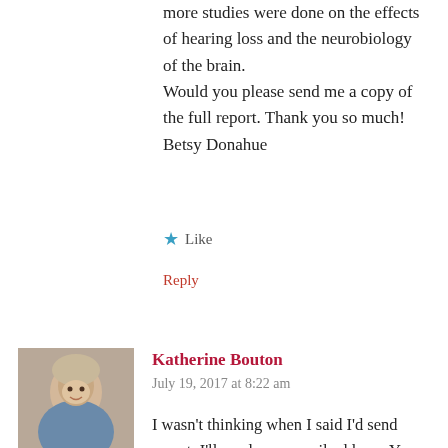more studies were done on the effects of hearing loss and the neurobiology of the brain.
Would you please send me a copy of the full report. Thank you so much!
Betsy Donahue
Like
Reply
Katherine Bouton
July 19, 2017 at 8:22 am
I wasn't thinking when I said I'd send report. I'll need your email address. You can email me at katherinebouton.com
Like